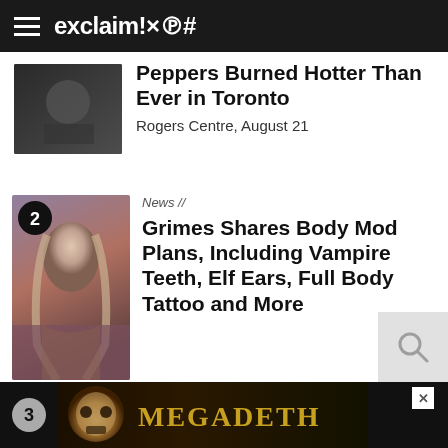exclaim!×℗#
Peppers Burned Hotter Than Ever in Toronto
Rogers Centre, August 21
News //
Grimes Shares Body Mod Plans, Including Vampire Teeth, Elf Ears, Full Body Tattoo and More
[Figure (other): Megadeth advertisement banner with skull graphic and band logo text]
3